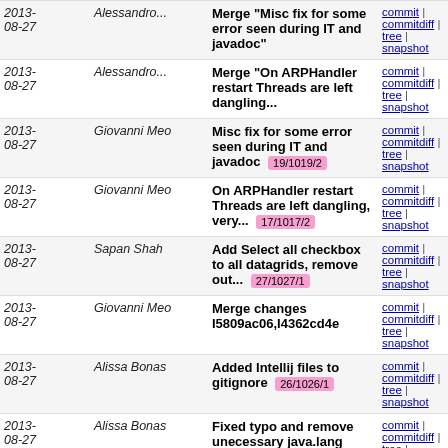| Date | Author | Commit message | Links |
| --- | --- | --- | --- |
| 2013-08-27 | Alessandro... | Merge "Misc fix for some error seen during IT and javadoc" | commit | commitdiff | tree | snapshot |
| 2013-08-27 | Alessandro... | Merge "On ARPHandler restart Threads are left dangling... | commit | commitdiff | tree | snapshot |
| 2013-08-27 | Giovanni Meo | Misc fix for some error seen during IT and javadoc [19/1019/2] | commit | commitdiff | tree | snapshot |
| 2013-08-27 | Giovanni Meo | On ARPHandler restart Threads are left dangling, very... [17/1017/2] | commit | commitdiff | tree | snapshot |
| 2013-08-27 | Sapan Shah | Add Select all checkbox to all datagrids, remove out... [27/1027/1] | commit | commitdiff | tree | snapshot |
| 2013-08-27 | Giovanni Meo | Merge changes I5809ac06,I4362cd4e | commit | commitdiff | tree | snapshot |
| 2013-08-27 | Alissa Bonas | Added Intellij files to gitignore [26/1026/1] | commit | commitdiff | tree | snapshot |
| 2013-08-27 | Alissa Bonas | Fixed typo and remove unecessary java.lang import [21/1021/1] | commit | commitdiff | tree | snapshot |
| 2013-08-27 | Giovanni Meo | Allow controller to be managed via JMX remotely [91/991/3] | commit | commitdiff | tree | snapshot |
| 2013-08-27 | Madhu Venugopal | Fixing a Northbound IT test breakage due to a recent... | commit | commitdiff | tree |